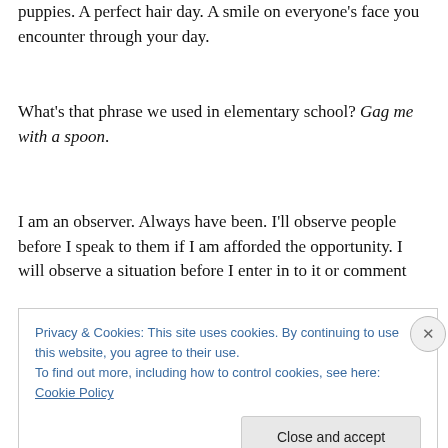puppies. A perfect hair day. A smile on everyone's face you encounter through your day.
What's that phrase we used in elementary school? Gag me with a spoon.
I am an observer. Always have been. I'll observe people before I speak to them if I am afforded the opportunity. I will observe a situation before I enter in to it or comment
Privacy & Cookies: This site uses cookies. By continuing to use this website, you agree to their use.
To find out more, including how to control cookies, see here: Cookie Policy
Close and accept